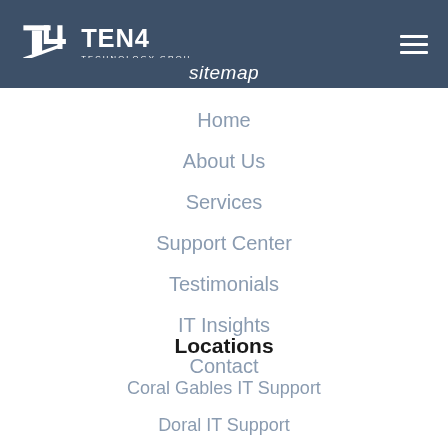[Figure (logo): TEN4 Technology Group logo — white T4 icon and TEN4 TECHNOLOGY GROUP wordmark on dark blue/slate header background]
sitemap
Home
About Us
Services
Support Center
Testimonials
IT Insights
Contact
Locations
Coral Gables IT Support
Doral IT Support
Fort Lauderdale IT Support
Miami IT Services